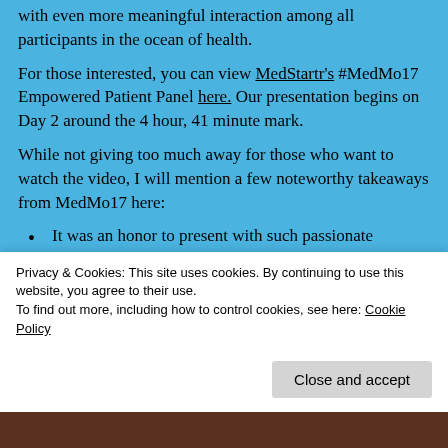with even more meaningful interaction among all participants in the ocean of health.
For those interested, you can view MedStartr's #MedMo17 Empowered Patient Panel here. Our presentation begins on Day 2 around the 4 hour, 41 minute mark.
While not giving too much away for those who want to watch the video, I will mention a few noteworthy takeaways from MedMo17 here:
It was an honor to present with such passionate healthcare advocates.  It was even cooler that our panel ended up being all women- such a rarity in the healthcare
Privacy & Cookies: This site uses cookies. By continuing to use this website, you agree to their use.
To find out more, including how to control cookies, see here: Cookie Policy
Close and accept